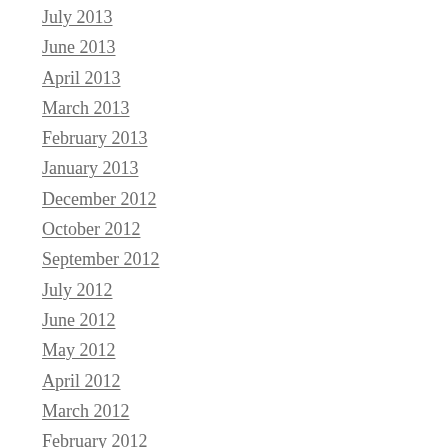July 2013
June 2013
April 2013
March 2013
February 2013
January 2013
December 2012
October 2012
September 2012
July 2012
June 2012
May 2012
April 2012
March 2012
February 2012